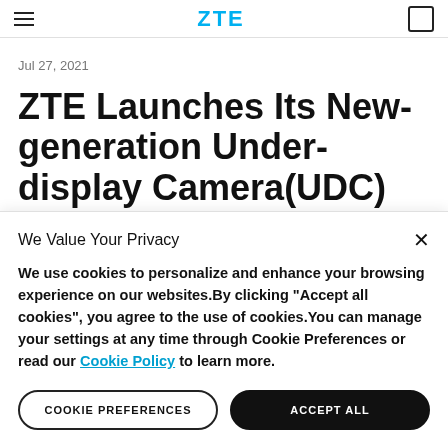ZTE (navigation bar with hamburger menu and cart icon)
Jul 27, 2021
ZTE Launches Its New-generation Under-display Camera(UDC)
We Value Your Privacy
We use cookies to personalize and enhance your browsing experience on our websites.By clicking "Accept all cookies", you agree to the use of cookies.You can manage your settings at any time through Cookie Preferences or read our Cookie Policy to learn more.
COOKIE PREFERENCES | ACCEPT ALL